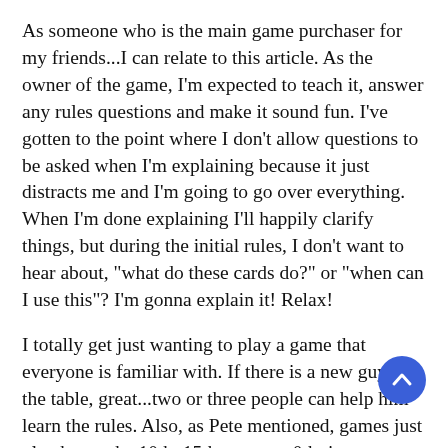As someone who is the main game purchaser for my friends...I can relate to this article. As the owner of the game, I'm expected to teach it, answer any rules questions and make it sound fun. I've gotten to the point where I don't allow questions to be asked when I'm explaining because it just distracts me and I'm going to go over everything. When I'm done explaining I'll happily clarify things, but during the initial rules, I don't want to hear about, &quot;what do these cards do?&quot; or &quot;when can I use this&quot;? I'm gonna explain it! Relax!
I totally get just wanting to play a game that everyone is familiar with. If there is a new guy at the table, great...two or three people can help him learn the rules. Also, as Pete mentioned, games just play better the 10th, 15th and 20th time compared to the first 3 games.